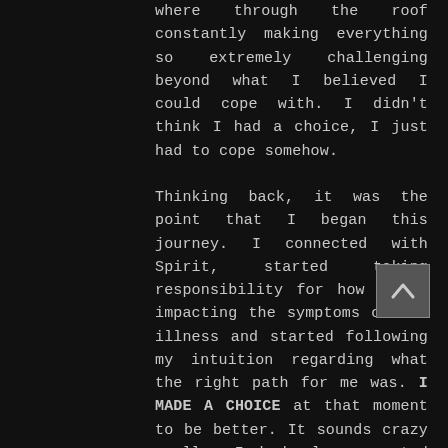where through the roof constantly making everything so extremely challenging beyond what I believed I could cope with. I didn't think I had a choice, I just had to cope somehow.

Thinking back, it was the point that I began this journey. I connected with Spirit, started taking responsibility for how I was impacting the symptoms of the illness and started following my intuition regarding what the right path for me was. I MADE A CHOICE at that moment to be better. It sounds crazy really, I had always wanted to not be unwell but it was different this time. It FELT different, because I actually believed in what I was doing. With that intention set and the mindset open to a